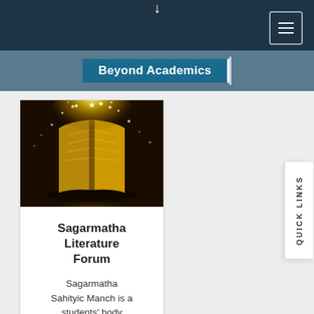Beyond Academics
[Figure (photo): Open book with golden magical light and sparkles emanating from its pages against a dark background]
Sagarmatha Literature Forum
Sagarmatha Sahityic Manch is a students' body